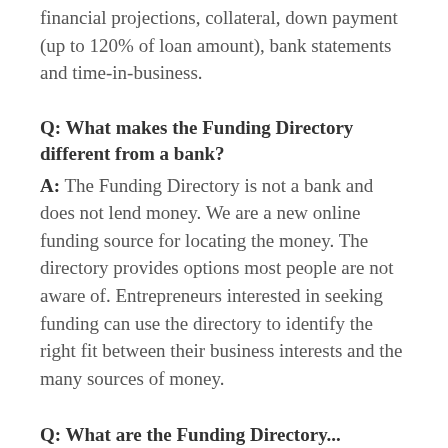financial projections, collateral, down payment (up to 120% of loan amount), bank statements and time-in-business.
Q: What makes the Funding Directory different from a bank?
A: The Funding Directory is not a bank and does not lend money. We are a new online funding source for locating the money. The directory provides options most people are not aware of. Entrepreneurs interested in seeking funding can use the directory to identify the right fit between their business interests and the many sources of money.
Q: What are the Funding Directory...